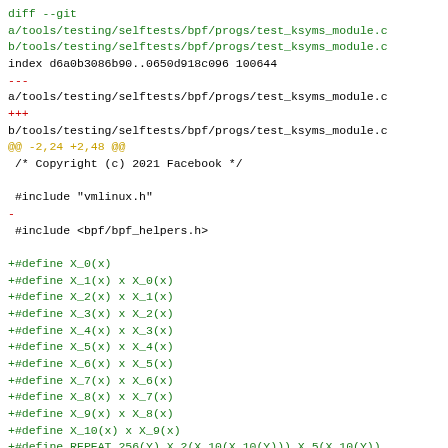diff --git
a/tools/testing/selftests/bpf/progs/test_ksyms_module.c
b/tools/testing/selftests/bpf/progs/test_ksyms_module.c
index d6a0b3086b90..0650d918c096 100644
---
a/tools/testing/selftests/bpf/progs/test_ksyms_module.c
+++
b/tools/testing/selftests/bpf/progs/test_ksyms_module.c
@@ -2,24 +2,48 @@
 /* Copyright (c) 2021 Facebook */

 #include "vmlinux.h"
-
 #include <bpf/bpf_helpers.h>

+#define X_0(x)
+#define X_1(x) x X_0(x)
+#define X_2(x) x X_1(x)
+#define X_3(x) x X_2(x)
+#define X_4(x) x X_3(x)
+#define X_5(x) x X_4(x)
+#define X_6(x) x X_5(x)
+#define X_7(x) x X_6(x)
+#define X_8(x) x X_7(x)
+#define X_9(x) x X_8(x)
+#define X_10(x) x X_9(x)
+#define REPEAT_256(Y) X_2(X_10(X_10(Y))) X_5(X_10(Y))
X_6(Y)
+
 extern const int bpf_testmod_ksym_percpu  ksym;